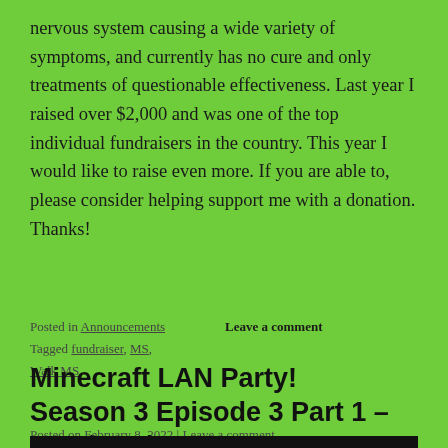nervous system causing a wide variety of symptoms, and currently has no cure and only treatments of questionable effectiveness. Last year I raised over $2,000 and was one of the top individual fundraisers in the country. This year I would like to raise even more. If you are able to, please consider helping support me with a donation. Thanks!
Posted in Announcements   Leave a comment
Tagged fundraiser, MS, Walk MS
Minecraft LAN Party! Season 3 Episode 3 Part 1 – Panda Adventure
Posted on February 8, 2022 | Leave a comment